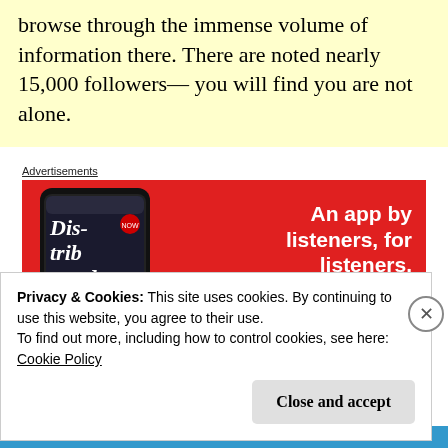browse through the immense volume of information there. There are noted nearly 15,000 followers— you will find you are not alone.
Advertisements
[Figure (infographic): Red advertisement banner for a podcast app showing a smartphone with 'Distributed' text on screen, headline 'An app by listeners, for listeners.' and a 'Download now' button.]
Privacy & Cookies: This site uses cookies. By continuing to use this website, you agree to their use.
To find out more, including how to control cookies, see here: Cookie Policy